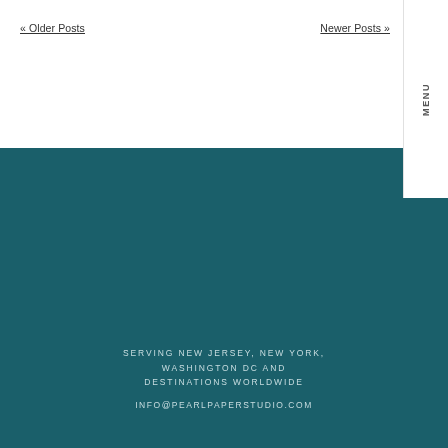« Older Posts   Newer Posts »
MENU
[Figure (other): Large teal/dark cyan background area filling the middle section of the page]
SERVING NEW JERSEY, NEW YORK, WASHINGTON DC AND DESTINATIONS WORLDWIDE
INFO@PEARLPAPERSTUDIO.COM